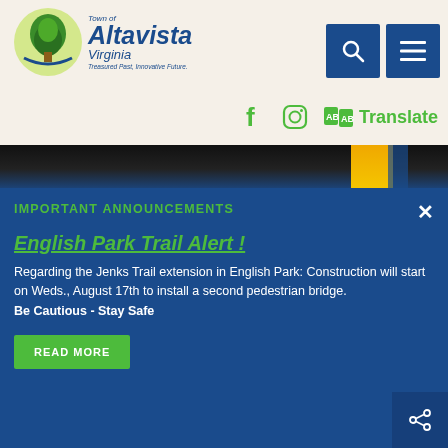[Figure (logo): Town of Altavista Virginia logo with circular green tree emblem and blue italic text reading 'Town of Altavista Virginia, Treasured Past, Innovative Future.']
[Figure (other): Search icon button (magnifying glass) and hamburger menu icon, both on dark blue square backgrounds, in the top-right navigation area.]
[Figure (other): Social media icons: Facebook (f), Instagram (camera), and a green Translate button with AB icon.]
[Figure (photo): Partial photo strip showing a dark background with a yellow element visible on the right side, appears to be a park or playground structure.]
IMPORTANT ANNOUNCEMENTS
English Park Trail Alert !
Regarding the Jenks Trail extension in English Park: Construction will start on Weds., August 17th to install a second pedestrian bridge. Be Cautious - Stay Safe
READ MORE